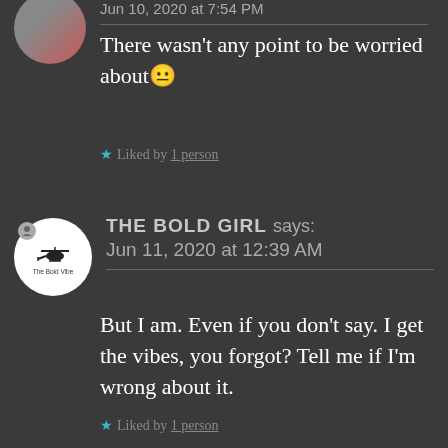Jun 10, 2020 at 7:54 PM
There wasn't any point to be worried about 😐
★ Liked by 1 person
[Figure (logo): The Bold Vibe logo - circular white logo with helicopter silhouette and text 'The Bold Vibe']
THE BOLD GIRL says: Jun 11, 2020 at 12:39 AM
But I am. Even if you don't say. I get the vibes, you forgot? Tell me if I'm wrong about it.
★ Liked by 1 person